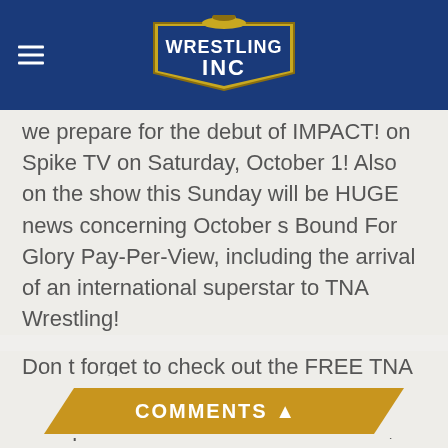Wrestling Inc
we prepare for the debut of IMPACT! on Spike TV on Saturday, October 1! Also on the show this Sunday will be HUGE news concerning October s Bound For Glory Pay-Per-View, including the arrival of an international superstar to TNA Wrestling!
Don t forget to check out the FREE TNA Countdown Preshow this Sunday, a half-hour prior to the start of Unbreakable , featuring last-minute news, interviews and exclusive matches before we go live on Pay-Per-View!
COMMENTS ▲